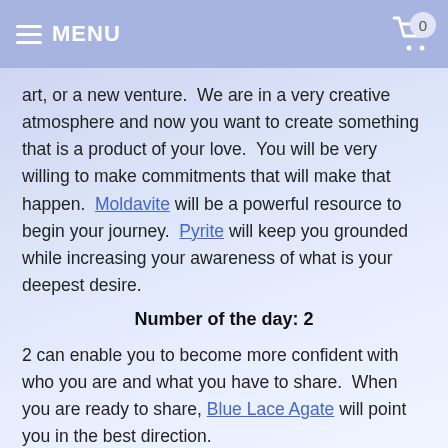MENU   0
art, or a new venture.  We are in a very creative atmosphere and now you want to create something that is a product of your love.  You will be very willing to make commitments that will make that happen.  Moldavite will be a powerful resource to begin your journey.  Pyrite will keep you grounded while increasing your awareness of what is your deepest desire.
Number of the day: 2
2 can enable you to become more confident with who you are and what you have to share.  When you are ready to share, Blue Lace Agate will point you in the best direction.
Saturday 12/20/14